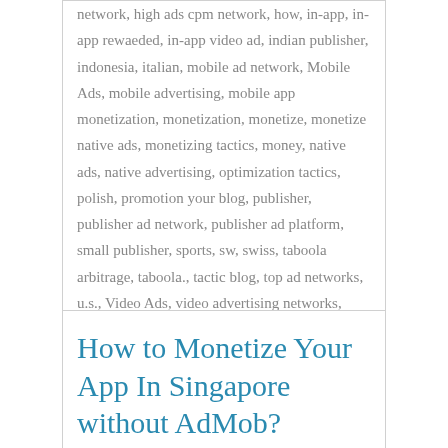network, high ads cpm network, how, in-app, in-app rewaeded, in-app video ad, indian publisher, indonesia, italian, mobile ad network, Mobile Ads, mobile advertising, mobile app monetization, monetization, monetize, monetize native ads, monetizing tactics, money, native ads, native advertising, optimization tactics, polish, promotion your blog, publisher, publisher ad network, publisher ad platform, small publisher, sports, sw, swiss, taboola arbitrage, taboola., tactic blog, top ad networks, u.s., Video Ads, video advertising networks, website, without, yield optimization
How to Monetize Your App In Singapore without AdMob?